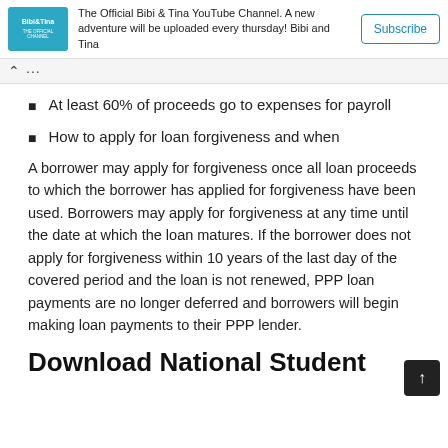[Figure (other): Bibi & Tina YouTube channel banner with logo, channel description text, and Subscribe button]
At least 60% of proceeds go to expenses for payroll
How to apply for loan forgiveness and when
A borrower may apply for forgiveness once all loan proceeds to which the borrower has applied for forgiveness have been used. Borrowers may apply for forgiveness at any time until the date at which the loan matures. If the borrower does not apply for forgiveness within 10 years of the last day of the covered period and the loan is not renewed, PPP loan payments are no longer deferred and borrowers will begin making loan payments to their PPP lender.
Download National Student